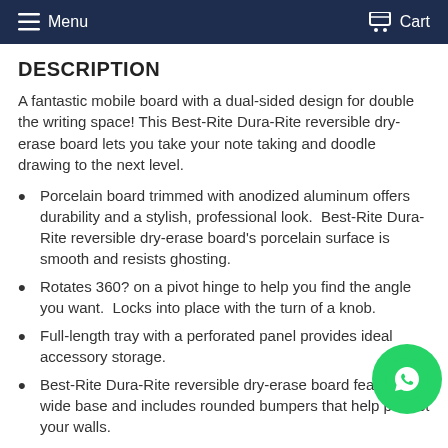Menu  Cart
DESCRIPTION
A fantastic mobile board with a dual-sided design for double the writing space! This Best-Rite Dura-Rite reversible dry-erase board lets you take your note taking and doodle drawing to the next level.
Porcelain board trimmed with anodized aluminum offers durability and a stylish, professional look.  Best-Rite Dura-Rite reversible dry-erase board's porcelain surface is smooth and resists ghosting.
Rotates 360? on a pivot hinge to help you find the angle you want.  Locks into place with the turn of a knob.
Full-length tray with a perforated panel provides ideal accessory storage.
Best-Rite Dura-Rite reversible dry-erase board features a wide base and includes rounded bumpers that help protect your walls.
3" casters offer smooth mobility and lock into place for stability.